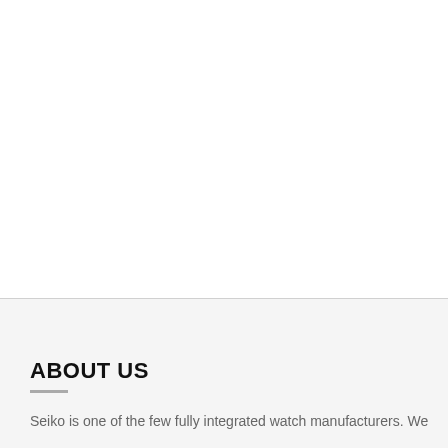ABOUT US
Seiko is one of the few fully integrated watch manufacturers. We